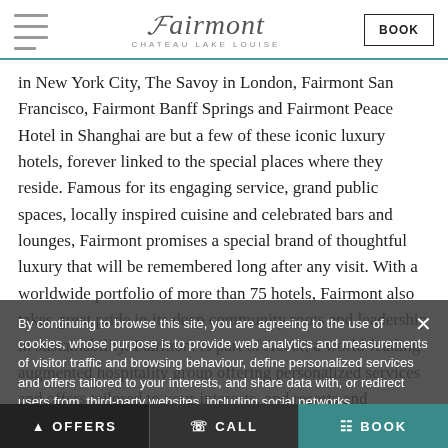Fairmont Chateau Lake Louise — BOOK
in New York City, The Savoy in London, Fairmont San Francisco, Fairmont Banff Springs and Fairmont Peace Hotel in Shanghai are but a few of these iconic luxury hotels, forever linked to the special places where they reside. Famous for its engaging service, grand public spaces, locally inspired cuisine and celebrated bars and lounges, Fairmont promises a special brand of thoughtful luxury that will be remembered long after any visit. With a worldwide portfolio of more than 75 hotels, Fairmont also takes great pride in its deep community roots and leadership in sustainability. Fairmont is part of Accor, a world-leading augmented hospitality group offering personalized services and offers tailored to your interests, and resorts and residences across 100 countries.
By continuing to browse this site, you are agreeing to the use of cookies, whose purpose is to provide web analytics and measurements of visitor traffic and browsing behaviour, define personalized services and offers tailored to your interests, and share data with, or redirect users from, third-party websites, including social networks.
OFFERS   CALL   BOOK